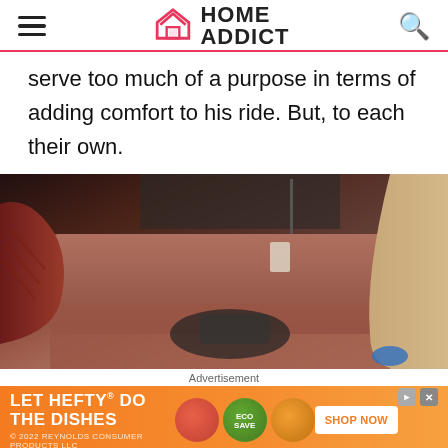HOME ADDICT
serve too much of a purpose in terms of adding comfort to his ride. But, to each their own.
[Figure (photo): Close-up photo of a brownish-red sofa or car seat interior, with a person in a dark red/maroon sweater visible on the left, items on the seat, and another person in beige on the right.]
Advertisement
[Figure (other): Orange advertisement banner for Hefty dishes product: LET HEFTY DO THE DISHES with product images and SHOP NOW button. © 2022 Reynolds Consumer Products LLC]